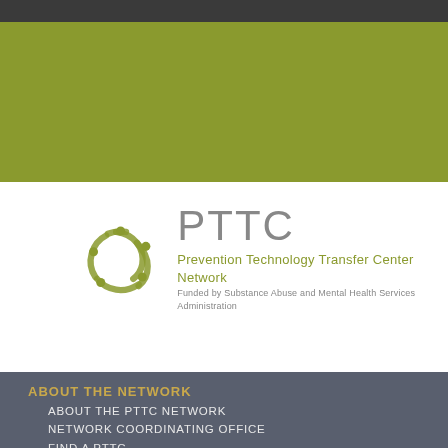[Figure (logo): PTTC Prevention Technology Transfer Center Network logo — circular olive/green icon with figures, large PTTC text, subtitle 'Prevention Technology Transfer Center Network', funded by SAMHSA]
ABOUT THE NETWORK
ABOUT THE PTTC NETWORK
NETWORK COORDINATING OFFICE
FIND A PTTC
NATIONAL FOCUS AREA PTTCS
NATIONAL AMERICAN INDIAN AND ALASKA